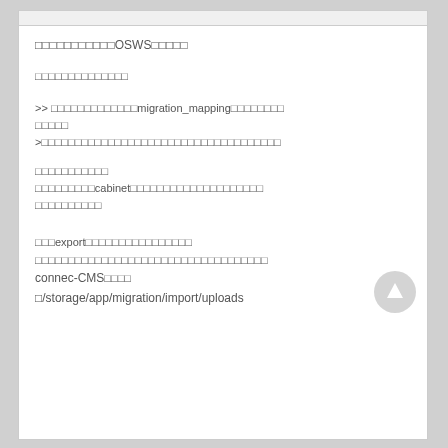□□□□□□□□□□□OSWS□□□□□
□□□□□□□□□□□□□□
>> □□□□□□□□□□□□□migration_mapping□□□□□□□□
□□□□□
>□□□□□□□□□□□□□□□□□□□□□□□□□□□□□□□□□□□□
□□□□□□□□□□□
□□□□□□□□□cabinet□□□□□□□□□□□□□□□□□□□□
□□□□□□□□□□
□□□export□□□□□□□□□□□□□□□□
□□□□□□□□□□□□□□□□□□□□□□□□□□□□□□□□□□□
connec-CMS□□□□
□/storage/app/migration/import/uploads